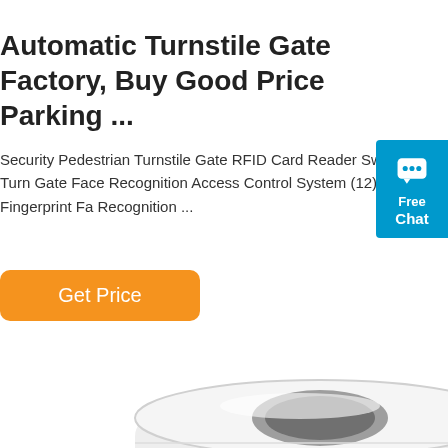Automatic Turnstile Gate Factory, Buy Good Price Parking ...
Security Pedestrian Turnstile Gate RFID Card Reader Swing Turn Gate Face Recognition Access Control System (12) Fingerprint Face Recognition ...
[Figure (other): Orange 'Get Price' button with rounded corners]
[Figure (other): Blue chat widget with speech bubble icon, 'Free Chat' text]
[Figure (photo): A roll of white RFID label stickers on a white background]